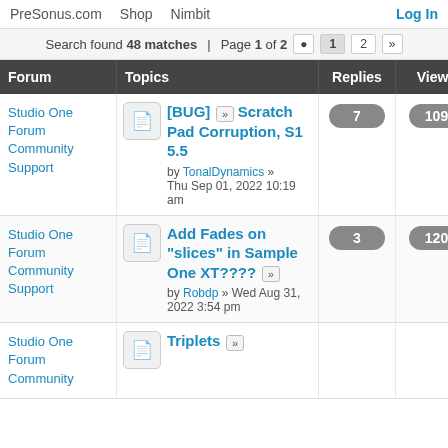PreSonus.com  Shop  Nimbit  Log In
Search found 48 matches  Page 1 of 2
| Forum | Topics | Replies | Views | Last post |
| --- | --- | --- | --- | --- |
| Studio One Forum Community Support | [BUG] Scratch Pad Corruption, S1 5.5 by TonalDynamics » Thu Sep 01, 2022 10:19 am | 7 | 109 | by TonalDyna Thu Sep 01 2022 6:53 p |
| Studio One Forum Community Support | Add Fades on "slices" in Sample One XT???? by Robdp » Wed Aug 31, 2022 3:54 pm | 3 | 120 | by Lokeyfly Thu Sep 01 2022 5:10 p |
| Studio One Forum Community | Triplets |  |  |  |